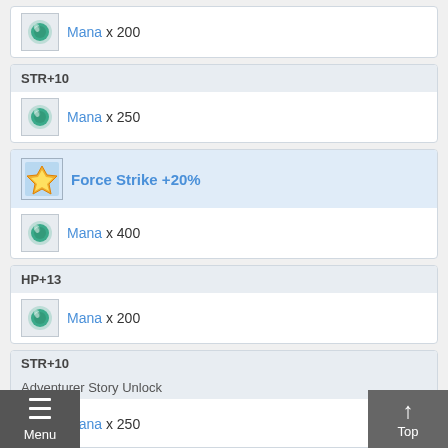Mana x 200
STR+10
Mana x 250
Force Strike +20%
Mana x 400
HP+13
Mana x 200
STR+10 / Adventurer Story Unlock
Mana x 250